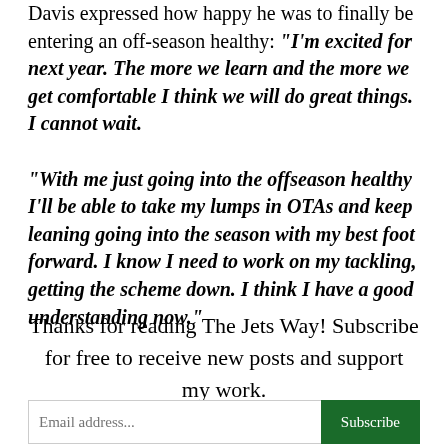Davis expressed how happy he was to finally be entering an off-season healthy: "I'm excited for next year. The more we learn and the more we get comfortable I think we will do great things. I cannot wait.

"With me just going into the offseason healthy I'll be able to take my lumps in OTAs and keep leaning going into the season with my best foot forward. I know I need to work on my tackling, getting the scheme down. I think I have a good understanding now."
Thanks for reading The Jets Way! Subscribe for free to receive new posts and support my work.